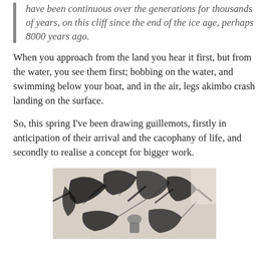have been continuous over the generations for thousands of years, on this cliff since the end of the ice age, perhaps 8000 years ago.
When you approach from the land you hear it first, but from the water, you see them first; bobbing on the water, and swimming below your boat, and in the air, legs akimbo crash landing on the surface.
So, this spring I've been drawing guillemots, firstly in anticipation of their arrival and the cacophany of life, and secondly to realise a concept for bigger work.
[Figure (photo): A person working on a large black and white drawing or artwork laid out on a surface, featuring abstract bird-like shapes in dark ink.]